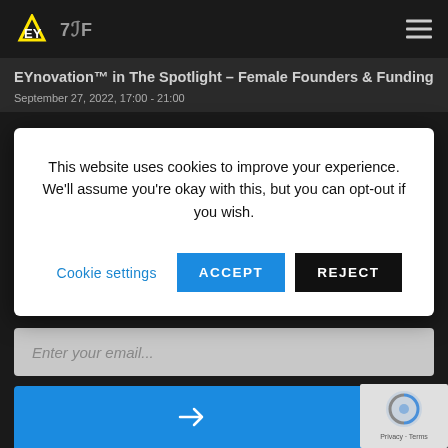EY | TF (navigation header with hamburger menu)
EYnovation™ in The Spotlight – Female Founders & Funding
September 27, 2022, 17:00 - 21:00
This website uses cookies to improve your experience. We'll assume you're okay with this, but you can opt-out if you wish.
Cookie settings  ACCEPT  REJECT
Enter your email...